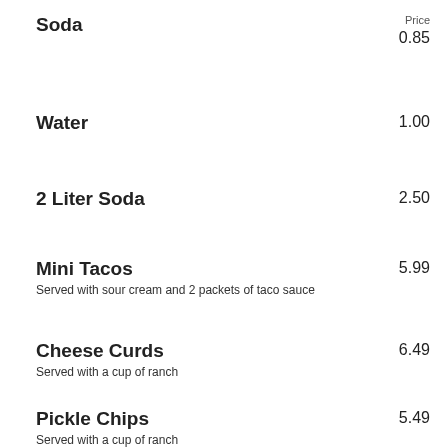Soda — Price: 0.85
Water — 1.00
2 Liter Soda — 2.50
Mini Tacos — 5.99. Served with sour cream and 2 packets of taco sauce
Cheese Curds — 6.49. Served with a cup of ranch
Pickle Chips — 5.49. Served with a cup of ranch